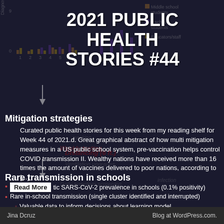[Figure (bar-chart): Faded background bar chart showing diagnoses by week for middle school students, high school students, and educators/staff. Y-axis shows values 0-9, x-axis shows weeks 1-6+. Three series: orange (Middle school students), purple (High school students), yellow (Educators/staff).]
2021 PUBLIC HEALTH STORIES #44
Mitigation strategies
Curated public health stories for this week from my reading shelf for Week 44 of 2021.d. Great graphical abstract of how multi mitigation measures in a US public school system, pre-vaccination helps control COVID transmission II. Wealthy nations have received more than 16 times the amount of vaccines delivered to poor nations, according to [...]
Rare transmission in schools
Read More … tic SARS-CoV-2 prevalence in schools (0.1% positivity)
Rare in-school transmission (single cluster identified and interrupted)
Valuable data to inform decisions about learning model
Jina Dcruz                                    Blog at WordPress.com.